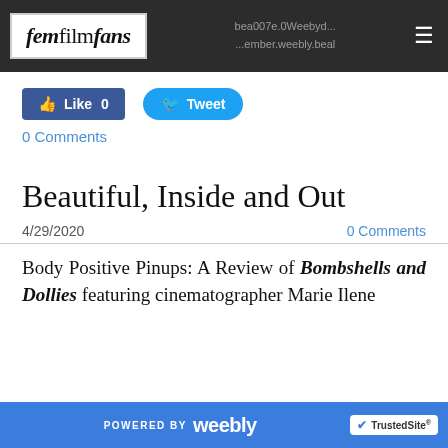femfilmfans
[Figure (screenshot): Like 0 and Tweet social media buttons]
0 Comments
Beautiful, Inside and Out
4/29/2020    0 Comments
Body Positive Pinups: A Review of Bombshells and Dollies featuring cinematographer Marie Ilene
POWERED BY weebly  TrustedSite